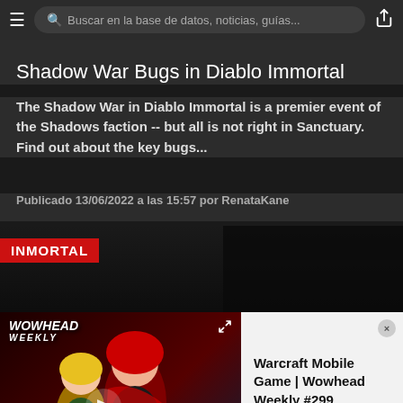Buscar en la base de datos, noticias, guías...
Shadow War Bugs in Diablo Immortal
The Shadow War in Diablo Immortal is a premier event of the Shadows faction -- but all is not right in Sanctuary. Find out about the key bugs...
Publicado 13/06/2022 a las 15:57 por RenataKane
[Figure (screenshot): Diablo Immortal INMORTAL badge on dark background]
[Figure (screenshot): Wowhead Weekly #299 video thumbnail with anime characters]
Warcraft Mobile Game | Wowhead Weekly #299